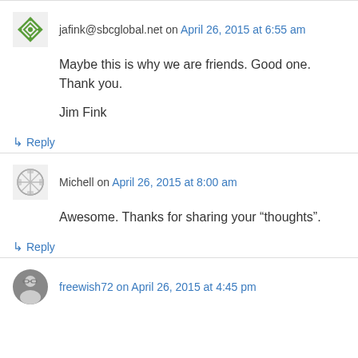jafink@sbcglobal.net on April 26, 2015 at 6:55 am
Maybe this is why we are friends. Good one. Thank you.

Jim Fink
↳ Reply
Michell on April 26, 2015 at 8:00 am
Awesome. Thanks for sharing your “thoughts”.
↳ Reply
freewish72 on April 26, 2015 at 4:45 pm